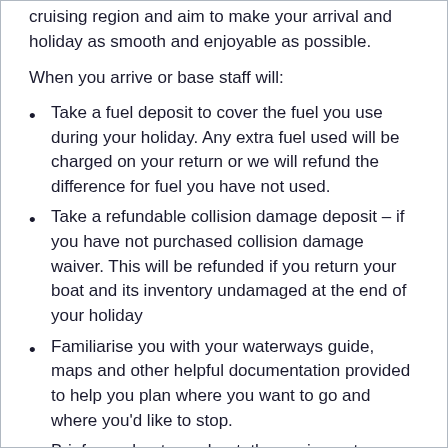cruising region and aim to make your arrival and holiday as smooth and enjoyable as possible.
When you arrive or base staff will:
Take a fuel deposit to cover the fuel you use during your holiday. Any extra fuel used will be charged on your return or we will refund the difference for fuel you have not used.
Take a refundable collision damage deposit – if you have not purchased collision damage waiver. This will be refunded if you return your boat and its inventory undamaged at the end of your holiday
Familiarise you with your waterways guide, maps and other helpful documentation provided to help you plan where you want to go and where you'd like to stop.
Brief you about your boat, the equipment on board, and the cruising area (places to visit, etc).